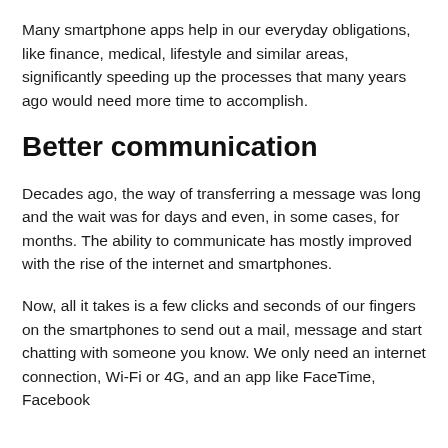Many smartphone apps help in our everyday obligations, like finance, medical, lifestyle and similar areas, significantly speeding up the processes that many years ago would need more time to accomplish.
Better communication
Decades ago, the way of transferring a message was long and the wait was for days and even, in some cases, for months. The ability to communicate has mostly improved with the rise of the internet and smartphones.
Now, all it takes is a few clicks and seconds of our fingers on the smartphones to send out a mail, message and start chatting with someone you know. We only need an internet connection, Wi-Fi or 4G, and an app like FaceTime, Facebook